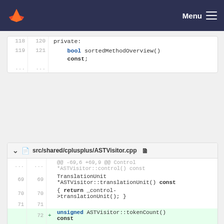Menu
[Figure (screenshot): GitLab diff view of a C++ file. First code block shows lines 118-121 with 'private: bool sortedMethodOverview() const;' followed by ellipsis rows.]
src/shared/cplusplus/ASTVisitor.cpp
[Figure (screenshot): GitLab diff view of ASTVisitor.cpp showing lines 69-75 with added lines 72-74 for unsigned ASTVisitor::tokenCount() const { return translationUnit()->tokenCount(); } and line 75 starting 'const Token'.]